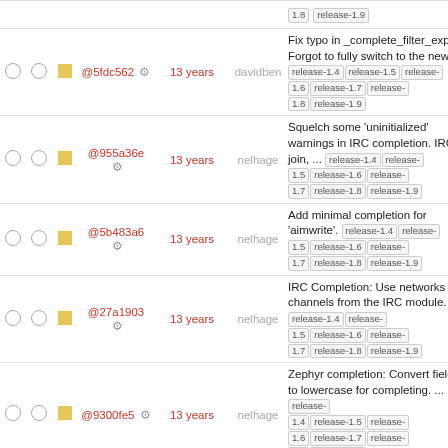|  |  |  | hash | age | author | message |
| --- | --- | --- | --- | --- | --- | --- |
| ○ ○ | ■ | @5fdc562 | 13 years | davidben | Fix typo in _complete_filter_expr Forgot to fully switch to the new ... release-1.4 release-1.5 release-1.6 release-1.7 release-1.8 release-1.9 |
| ○ ○ | ■ | @955a36e | 13 years | nelhage | Squelch some 'uninitialized' warnings in IRC completion. IRC join, ... release-1.4 release-1.5 release-1.6 release-1.7 release-1.8 release-1.9 |
| ○ ○ | ■ | @5b483a6 | 13 years | nelhage | Add minimal completion for 'aimwrite'. release-1.4 release-1.5 release-1.6 release-1.7 release-1.8 release-1.9 |
| ○ ○ | ■ | @27a1903 | 13 years | nelhage | IRC Completion: Use networks and channels from the IRC module. release-1.4 release-1.5 release-1.6 release-1.7 release-1.8 release-1.9 |
| ○ ○ | ■ | @9300fe5 | 13 years | nelhage | Zephyr completion: Convert fields to lowercase for completing. ... release-1.4 release-1.5 release-1.6 release-1.7 release-1.8 release-1.9 |
| ○ ○ | ■ | @69c27e6 | 13 years | davidben | Don't suggest repeated flags in complete_flags For most commands, it ... release-1.4 release-1.5 release-1.6 release-1.7 release-1.8 release-1.9 |